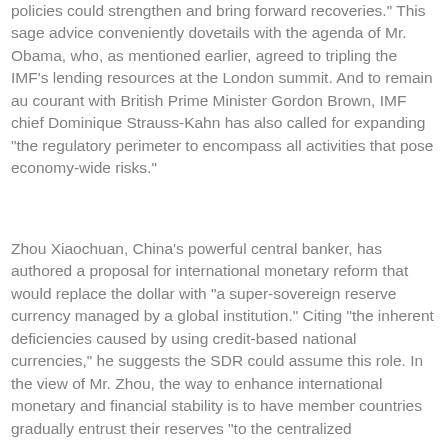policies could strengthen and bring forward recoveries." This sage advice conveniently dovetails with the agenda of Mr. Obama, who, as mentioned earlier, agreed to tripling the IMF's lending resources at the London summit. And to remain au courant with British Prime Minister Gordon Brown, IMF chief Dominique Strauss-Kahn has also called for expanding "the regulatory perimeter to encompass all activities that pose economy-wide risks."
Zhou Xiaochuan, China's powerful central banker, has authored a proposal for international monetary reform that would replace the dollar with "a super-sovereign reserve currency managed by a global institution." Citing "the inherent deficiencies caused by using credit-based national currencies," he suggests the SDR could assume this role. In the view of Mr. Zhou, the way to enhance international monetary and financial stability is to have member countries gradually entrust their reserves "to the centralized